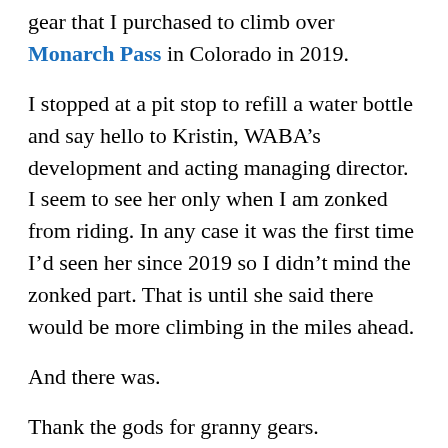gear that I purchased to climb over Monarch Pass in Colorado in 2019.
I stopped at a pit stop to refill a water bottle and say hello to Kristin, WABA’s development and acting managing director. I seem to see her only when I am zonked from riding. In any case it was the first time I’d seen her since 2019 so I didn’t mind the zonked part. That is until she said there would be more climbing in the miles ahead.
And there was.
Thank the gods for granny gears.
At least the neighborhoods were interesting and the traffic was light. At mile 10, I arrived on the Custis Trail again. This led to a somewhat confusing meander through the Ballston area. I briefly lived in